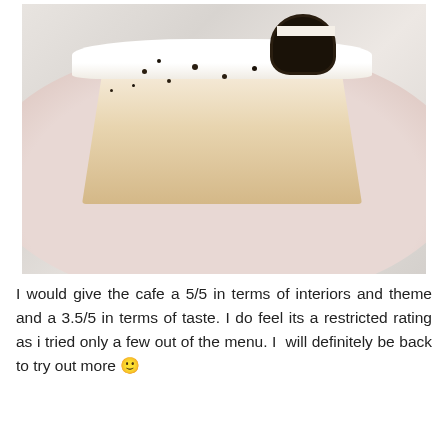[Figure (photo): A slice of cream cake topped with whipped cream and crushed Oreo cookie crumbs, garnished with a whole Oreo cookie on top, served on a pink plate on a marble surface.]
I would give the cafe a 5/5 in terms of interiors and theme and a 3.5/5 in terms of taste. I do feel its a restricted rating as i tried only a few out of the menu. I  will definitely be back to try out more 🙂